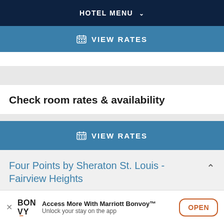HOTEL MENU
VIEW RATES
Check room rates & availability
VIEW RATES
Four Points by Sheraton St. Louis - Fairview Heights
Access More With Marriott Bonvoy™ Unlock your stay on the app